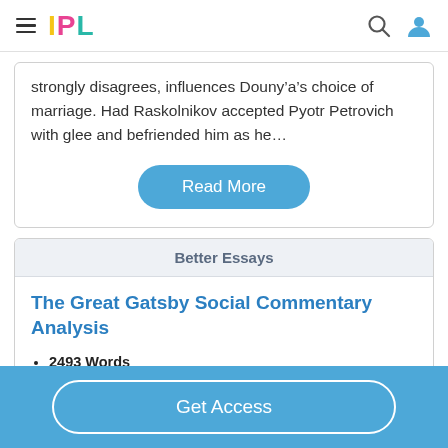IPL
strongly disagrees, influences Douny’a’s choice of marriage. Had Raskolnikov accepted Pyotr Petrovich with glee and befriended him as he…
Read More
Better Essays
The Great Gatsby Social Commentary Analysis
2493 Words
10 Pages
Get Access